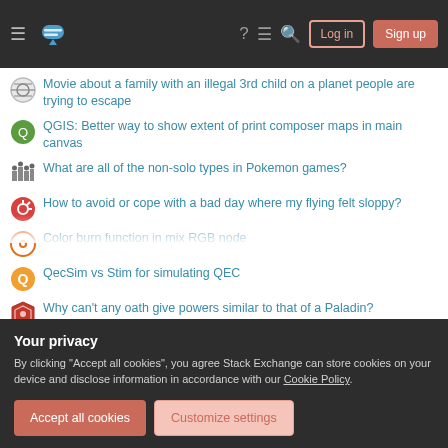Stack Exchange Network header with hamburger menu, logo, help, chat, search icons, Log in and Sign up buttons
Movie about a family with an illegal 3rd child on a planet people are trying to escape
QGIS: Better way to show extent of print composer maps in main canvas
What are all of the non-solo types in Pokemon games?
How to avoid or cope with a bad day where my flying felt sloppy?
Color burn function in mix RGB node
QecSim vs Stim for simulating QEC
Why can't any oath give powers similar to that of a Paladin?
What is the benefit of indexing assuming that SQL server has huge
Your privacy
By clicking "Accept all cookies", you agree Stack Exchange can store cookies on your device and disclose information in accordance with our Cookie Policy.
Accept all cookies   Customize settings